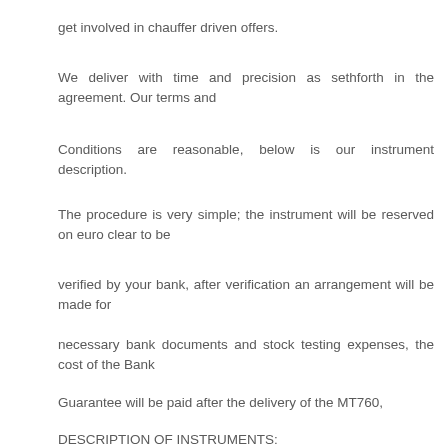get involved in chauffer driven offers.
We deliver with time and precision as sethforth in the agreement. Our terms and
Conditions are reasonable, below is our instrument description.
The procedure is very simple; the instrument will be reserved on euro clear to be
verified by your bank, after verification an arrangement will be made for
necessary bank documents and stock testing expenses, the cost of the Bank
Guarantee will be paid after the delivery of the MT760,
DESCRIPTION OF INSTRUMENTS: